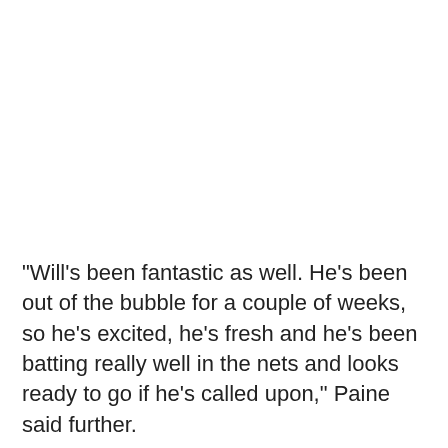"Will's been fantastic as well. He's been out of the bubble for a couple of weeks, so he's excited, he's fresh and he's been batting really well in the nets and looks ready to go if he's called upon," Paine said further.
If Warner and Pucovski get the green light to claim the opening slots for the third Test, Australia's temporary